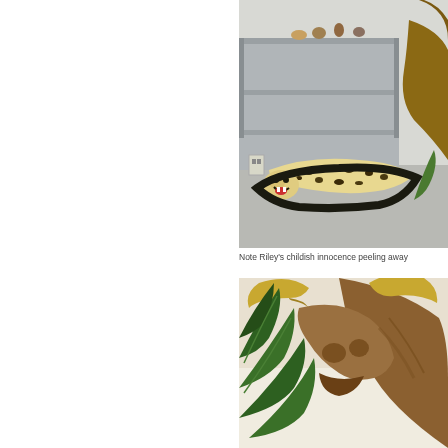[Figure (photo): Photo of a cheetah skin rug with mounted head displayed on a floor in what appears to be a museum storage or preparation room. Metal shelving units visible in background with small animal figurines on top. A large animal (possibly elk or moose) partially visible on the right.]
Note Riley's childish innocence peeling away
[Figure (photo): Close-up photo of a mounted animal head with large curved horns/tusks, surrounded by tropical plant leaves (dark green). Appears to be a buffalo or similar large animal taxidermy mount.]